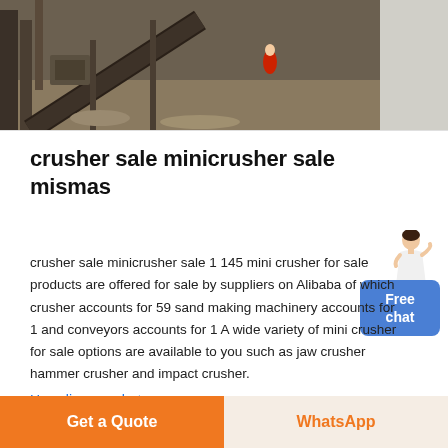[Figure (photo): Mining/industrial machinery site with conveyor belts and equipment, dark tones, a person in red is visible in the background. Right side has a light grey strip.]
crusher sale minicrusher sale mismas
crusher sale minicrusher sale 1 145 mini crusher for sale products are offered for sale by suppliers on Alibaba of which crusher accounts for 59 sand making machinery accounts for 1 and conveyors accounts for 1 A wide variety of mini crusher for sale options are available to you such as jaw crusher hammer crusher and impact crusher.
Haz clic para chatear
[Figure (illustration): Small avatar of a woman in white dress with hand raised, used for chat interface widget.]
Free chat
Get a Quote
WhatsApp